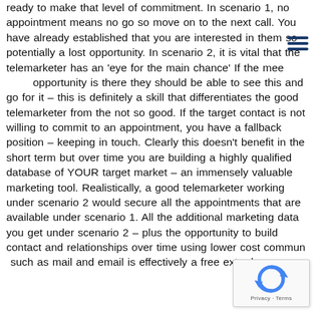ready to make that level of commitment. In scenario 1, no appointment means no go so move on to the next call. You have already established that you are interested in them so potentially a lost opportunity. In scenario 2, it is vital that the telemarketer has an 'eye for the main chance' If the meeting opportunity is there they should be able to see this and go for it – this is definitely a skill that differentiates the good telemarketer from the not so good. If the target contact is not willing to commit to an appointment, you have a fallback position – keeping in touch. Clearly this doesn't benefit in the short term but over time you are building a highly qualified database of YOUR target market – an immensely valuable marketing tool. Realistically, a good telemarketer working under scenario 2 would secure all the appointments that are available under scenario 1. All the additional marketing data you get under scenario 2 – plus the opportunity to build contact and relationships over time using lower cost communications such as mail and email is effectively a free extra bene
[Figure (other): reCAPTCHA widget overlay with spinning arrow logo and Privacy - Terms text]